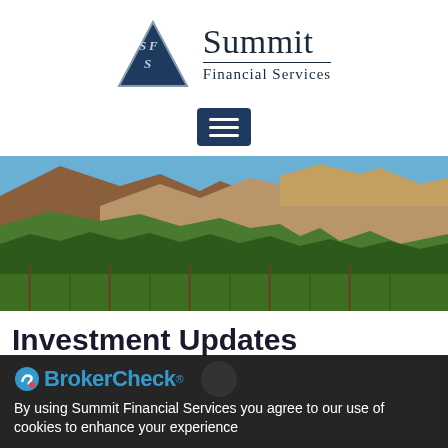[Figure (logo): Summit Financial Services logo with triangle containing SFS letters and company name text]
[Figure (other): Dark blue menu/hamburger button with three horizontal white lines]
[Figure (photo): Landscape photo of California hills and mountains with vineyard in foreground, dry golden hillsides, clear blue sky]
Investment Updates
BrokerCheck®
By using Summit Financial Services you agree to our use of cookies to enhance your experience